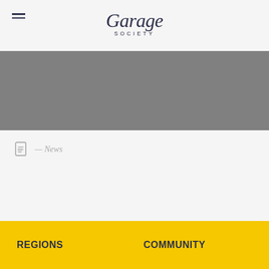Garage Society
[Figure (photo): Large gray placeholder image banner]
— News
REGIONS    COMMUNITY